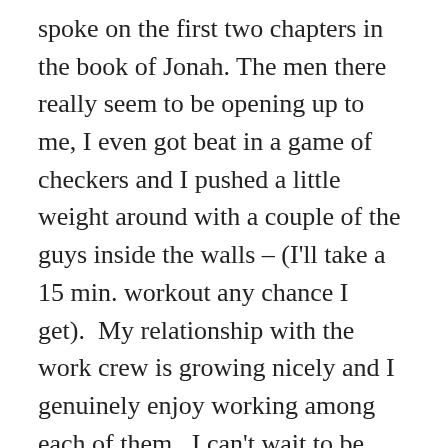spoke on the first two chapters in the book of Jonah. The men there really seem to be opening up to me, I even got beat in a game of checkers and I pushed a little weight around with a couple of the guys inside the walls – (I'll take a 15 min. workout any chance I get).  My relationship with the work crew is growing nicely and I genuinely enjoy working among each of them.  I can't wait to be able to communicate fully in their language.  I know I will have lasting friendships with a few.
Now with the rest of my time: I have